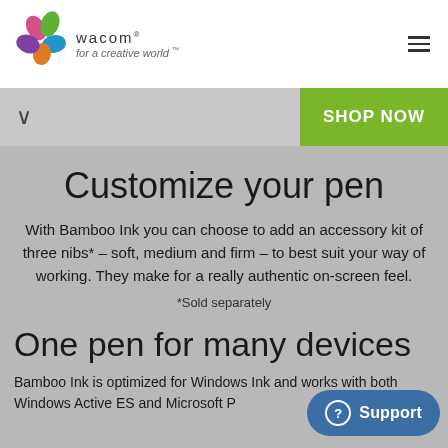wacom · for a creative world™
Customize your pen
With Bamboo Ink you can choose to add an accessory kit of three nibs* – soft, medium and firm – to best suit your way of working. They make for a really authentic on-screen feel.
*Sold separately
One pen for many devices
Bamboo Ink is optimized for Windows Ink and works with both Windows Active ES and Microsoft P...